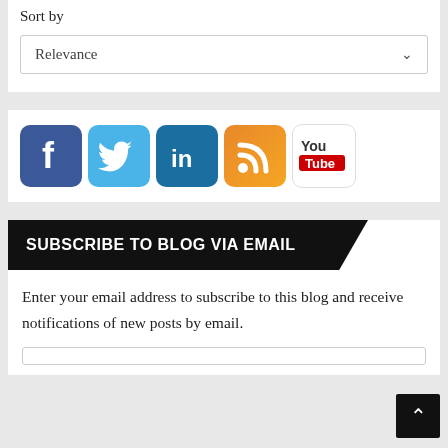Sort by
Relevance
[Figure (illustration): Social media icons row: Facebook (blue f), Twitter (light blue bird), LinkedIn (dark blue 'in'), RSS feed (orange wave icon), YouTube (white/red 'You Tube' logo)]
SUBSCRIBE TO BLOG VIA EMAIL
Enter your email address to subscribe to this blog and receive notifications of new posts by email.